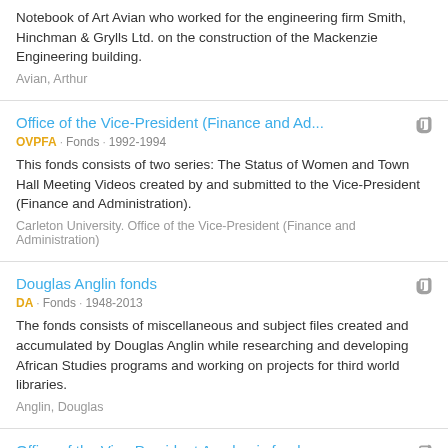Notebook of Art Avian who worked for the engineering firm Smith, Hinchman & Grylls Ltd. on the construction of the Mackenzie Engineering building.
Avian, Arthur
Office of the Vice-President (Finance and Ad...
OVPFA · Fonds · 1992-1994
This fonds consists of two series: The Status of Women and Town Hall Meeting Videos created by and submitted to the Vice-President (Finance and Administration).
Carleton University. Office of the Vice-President (Finance and Administration)
Douglas Anglin fonds
DA · Fonds · 1948-2013
The fonds consists of miscellaneous and subject files created and accumulated by Douglas Anglin while researching and developing African Studies programs and working on projects for third world libraries.
Anglin, Douglas
Office of the Vice-President Academic fonds